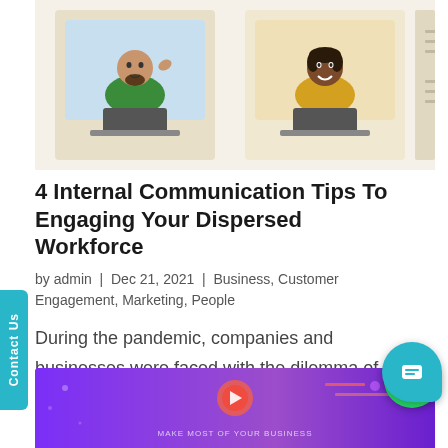[Figure (illustration): Hero illustration showing two people in video call windows on a beige/cream background — a man waving on the left and a woman smiling on the right, both at laptops, with decorative window-like panels]
4 Internal Communication Tips To Engaging Your Dispersed Workforce
by admin | Dec 21, 2021 | Business, Customer Engagement, Marketing, People
During the pandemic, companies and businesses were faced with the dilemma of adapting and adjusting or simply shipping out. As a result, many had to pivot to new ways of working to survive the negative impact of lockdowns and physical distancing requirements on both...
[Figure (screenshot): Bottom banner showing a purple gradient background with a circular logo/icon and small text 'MAKE MOST OF YOUR BUSINESS']